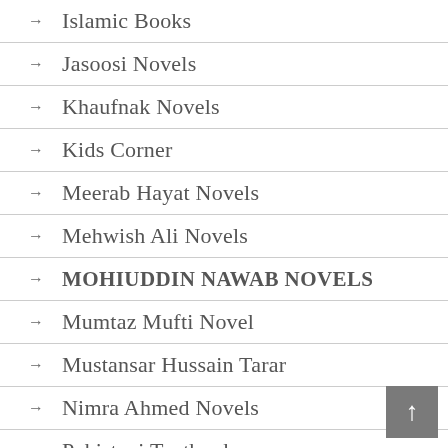Islamic Books
Jasoosi Novels
Khaufnak Novels
Kids Corner
Meerab Hayat Novels
Mehwish Ali Novels
MOHIUDDIN NAWAB NOVELS
Mumtaz Mufti Novel
Mustansar Hussain Tarar
Nimra Ahmed Novels
Pakistani Textbooks